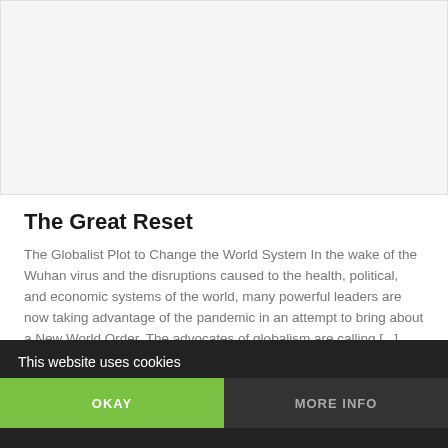[Figure (photo): Image placeholder / article thumbnail at the top of the page]
The Great Reset
The Globalist Plot to Change the World System In the wake of the Wuhan virus and the disruptions caused to the health, political, and economic systems of the world, many powerful leaders are now taking advantage of the pandemic in an attempt to bring about a New World Order. The advocates of globalism are calling [...]
This website uses cookies
OKAY
MORE INFO